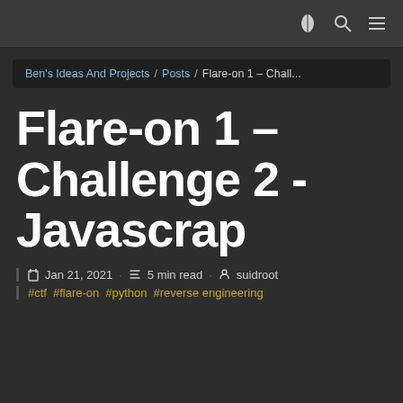Ben's Ideas And Projects / Posts / Flare-on 1 – Chall...
Flare-on 1 – Challenge 2 - Javascrap
Jan 21, 2021 · 5 min read · suidroot
#ctf #flare-on #python #reverse engineering